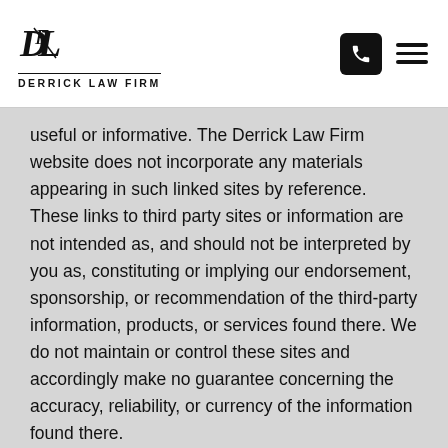DERRICK LAW FIRM
useful or informative. The Derrick Law Firm website does not incorporate any materials appearing in such linked sites by reference. These links to third party sites or information are not intended as, and should not be interpreted by you as, constituting or implying our endorsement, sponsorship, or recommendation of the third-party information, products, or services found there. We do not maintain or control these sites and accordingly make no guarantee concerning the accuracy, reliability, or currency of the information found there.